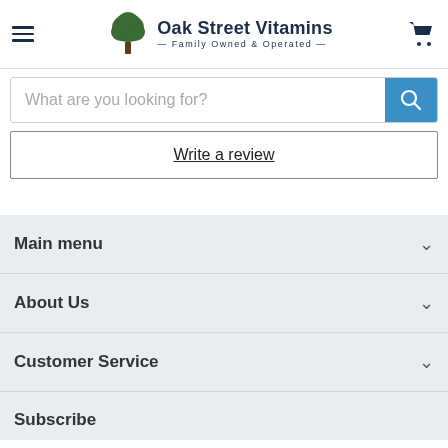Oak Street Vitamins — Family Owned & Operated
What are you looking for?
Write a review
Main menu
About Us
Customer Service
Subscribe